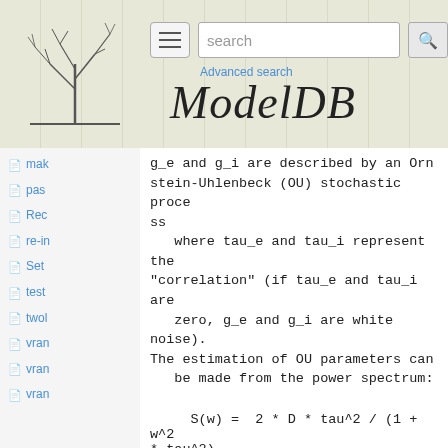ModelDB - search header with logo
mak
pas
Rec
re-in
Set
test
twol
vran
vran
vran
g_e and g_i are described by an Ornstein-Uhlenbeck (OU) stochastic process
   where tau_e and tau_i represent the "correlation" (if tau_e and tau_i are
   zero, g_e and g_i are white noise).
The estimation of OU parameters can
   be made from the power spectrum:
and the diffusion coeffient D is estimated from the variance:
NUMERICAL RESOLUTION